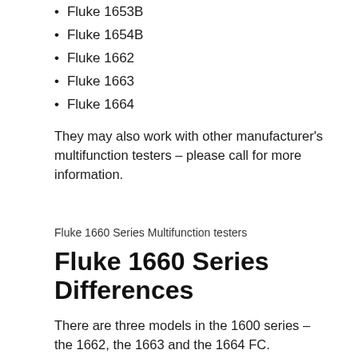Fluke 1653B
Fluke 1654B
Fluke 1662
Fluke 1663
Fluke 1664
They may also work with other manufacturer's multifunction testers – please call for more information.
Fluke 1660 Series Multifunction testers
Fluke 1660 Series Differences
There are three models in the 1600 series – the 1662, the 1663 and the 1664 FC.
This table outlines the difference between the three units.